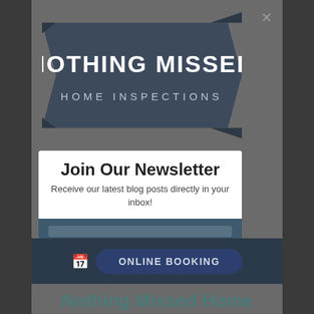[Figure (logo): Nothing Missed Home Inspections logo — banner ribbon shape with bold white text on dark navy/slate background]
Join Our Newsletter
Receive our latest blog posts directly in your inbox!
[Figure (screenshot): Email input field with teal-dark background]
Sign Up Now
ONLINE BOOKING
Nothing Missed Home Inspections